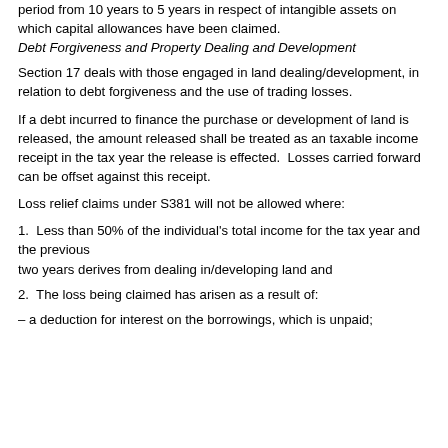period from 10 years to 5 years in respect of intangible assets on which capital allowances have been claimed.
Debt Forgiveness and Property Dealing and Development
Section 17 deals with those engaged in land dealing/development, in relation to debt forgiveness and the use of trading losses.
If a debt incurred to finance the purchase or development of land is released, the amount released shall be treated as an taxable income receipt in the tax year the release is effected.  Losses carried forward can be offset against this receipt.
Loss relief claims under S381 will not be allowed where:
1.  Less than 50% of the individual's total income for the tax year and the previous two years derives from dealing in/developing land and
2.  The loss being claimed has arisen as a result of:
– a deduction for interest on the borrowings, which is unpaid;